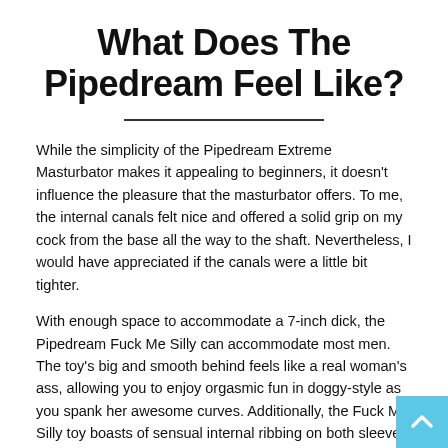What Does The Pipedream Feel Like?
While the simplicity of the Pipedream Extreme Masturbator makes it appealing to beginners, it doesn't influence the pleasure that the masturbator offers. To me, the internal canals felt nice and offered a solid grip on my cock from the base all the way to the shaft. Nevertheless, I would have appreciated if the canals were a little bit tighter.
With enough space to accommodate a 7-inch dick, the Pipedream Fuck Me Silly can accommodate most men. The toy's big and smooth behind feels like a real woman's ass, allowing you to enjoy orgasmic fun in doggy-style as you spank her awesome curves. Additionally, the Fuck Me Silly toy boasts of sensual internal ribbing on both sleeves designed to massage and stimulate your cock with every thrust.